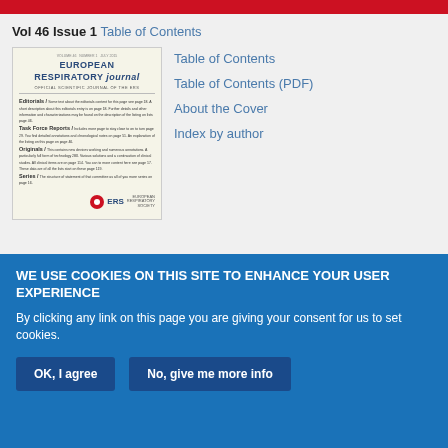Vol 46 Issue 1 Table of Contents
[Figure (illustration): Cover image of the European Respiratory Journal, Vol 46 Issue 1, showing the journal title 'EUROPEAN RESPIRATORY journal', sections including Editorials, Task Force Reports, Originals, Series, and the ERS logo at the bottom right.]
Table of Contents
Table of Contents (PDF)
About the Cover
Index by author
WE USE COOKIES ON THIS SITE TO ENHANCE YOUR USER EXPERIENCE
By clicking any link on this page you are giving your consent for us to set cookies.
OK, I agree
No, give me more info